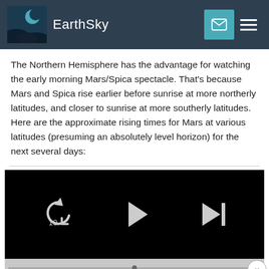EarthSky
The Northern Hemisphere has the advantage for watching the early morning Mars/Spica spectacle. That's because Mars and Spica rise earlier before sunrise at more northerly latitudes, and closer to sunrise at more southerly latitudes. Here are the approximate rising times for Mars at various latitudes (presuming an absolutely level horizon) for the next several days:
[Figure (screenshot): A video player with black background showing media controls: replay 10 seconds button, play button, and skip-to-end button. Below is a gray progress bar area with a close (×) button.]